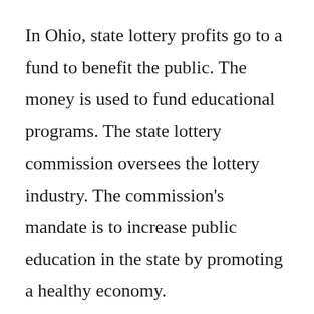In Ohio, state lottery profits go to a fund to benefit the public. The money is used to fund educational programs. The state lottery commission oversees the lottery industry. The commission's mandate is to increase public education in the state by promoting a healthy economy.
Once you've decided on which lottery game you'd like to play, the next step is to download the app. Many lottery apps allow